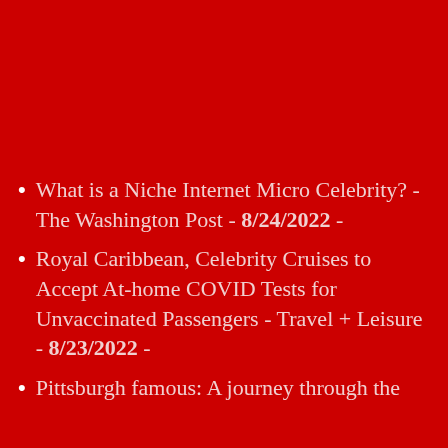What is a Niche Internet Micro Celebrity? - The Washington Post - 8/24/2022 -
Royal Caribbean, Celebrity Cruises to Accept At-home COVID Tests for Unvaccinated Passengers - Travel + Leisure - 8/23/2022 -
Pittsburgh famous: A journey through the